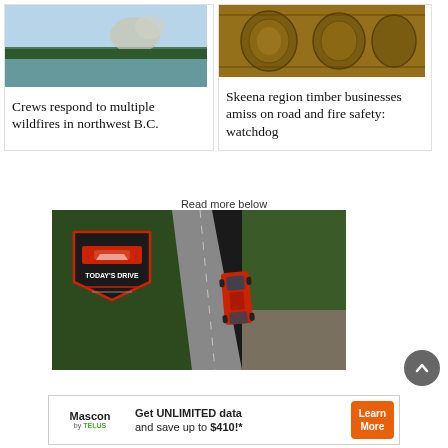[Figure (photo): Aerial or lake view photo with smoke/haze on horizon, related to wildfires in northwest B.C.]
Crews respond to multiple wildfires in northwest B.C.
[Figure (photo): Close-up photo of timber logs stacked, related to Skeena region timber story]
Skeena region timber businesses amiss on road and fire safety: watchdog
Read more below
[Figure (photo): Aerial view of red car driving on road through forest, with Today's Drive logo overlay]
[Figure (other): Mascon by TELUS advertisement: Get UNLIMITED data and save up to $410!* Learn More button]